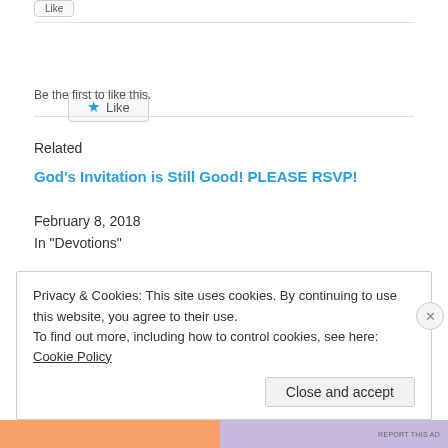[Figure (other): Like button UI element with star icon]
Be the first to like this.
Related
God's Invitation is Still Good! PLEASE RSVP!
February 8, 2018
In "Devotions"
Privacy & Cookies: This site uses cookies. By continuing to use this website, you agree to their use.
To find out more, including how to control cookies, see here:
Cookie Policy
Close and accept